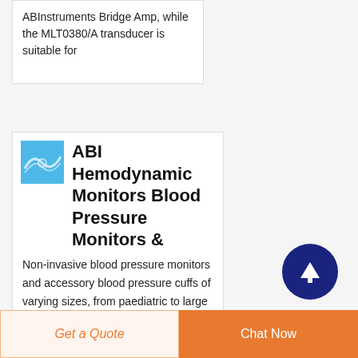ABInstruments Bridge Amp, while the MLT0380/A transducer is suitable for
[Figure (logo): ABI company logo on blue background]
ABI Hemodynamic Monitors Blood Pressure Monitors &
Non-invasive blood pressure monitors and accessory blood pressure cuffs of varying sizes, from paediatric to large adult, represented in our catalogue have earned their place due to high levels of certification, proven accuracy
[Figure (illustration): Dark blue circle with white upward arrow button]
Get a Quote
Chat Now